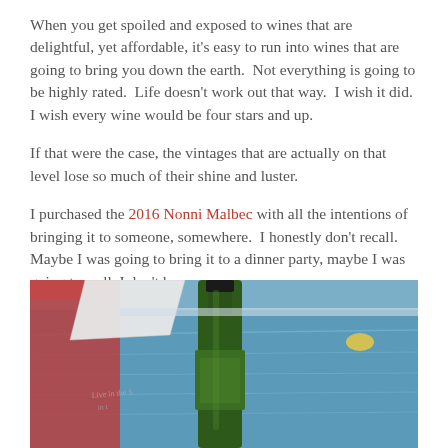When you get spoiled and exposed to wines that are delightful, yet affordable, it's easy to run into wines that are going to bring you down the earth.  Not everything is going to be highly rated.  Life doesn't work out that way.  I wish it did.  I wish every wine would be four stars and up.
If that were the case, the vintages that are actually on that level lose so much of their shine and luster.
I purchased the 2016 Nonni Malbec with all the intentions of bringing it to someone, somewhere.  I honestly don't recall.  Maybe I was going to bring it to a dinner party, maybe I was going to well, I don't know.
[Figure (photo): Photo of a green wine bottle (2016 Nonni Malbec) sitting beside a pool on what appears to be a pink/red chair or table, with a white towel or cloth visible, and a blue swimming pool with floats in the background.]